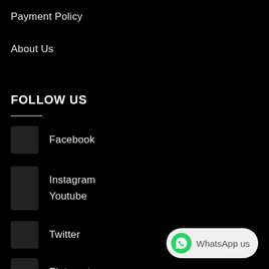Payment Policy
About Us
FOLLOW US
Facebook
Instagram
Youtube
Twitter
Pinterest
[Figure (other): WhatsApp us button with green WhatsApp logo icon and grey rounded pill shape]